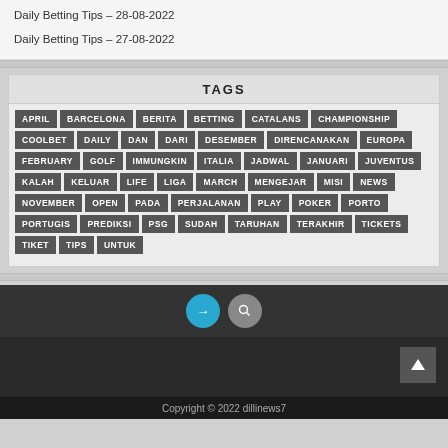Daily Betting Tips – 28-08-2022
Daily Betting Tips – 27-08-2022
TAGS
APRIL BARCELONA BERITA BETTING CATALANS CHAMPIONSHIP COOLBET DAILY DAN DARI DESEMBER DIRENCANAKAN EUROPA FEBRUARY GOLF IMMUNGKIN ITALIA JADWAL JANUARI JUVENTUS KALAH KELUAR LIFE LIGA MARCH MENGEJAR MISI NEWS NOVEMBER OPEN PADA PERJALANAN PLAY POKER PORTO PORTUGIS PREDIKSI PSG SUDAH TARUHAN TERAKHIR TICKETS TIKET TIPS UNTUK
Copyright © 2022 dillinews7